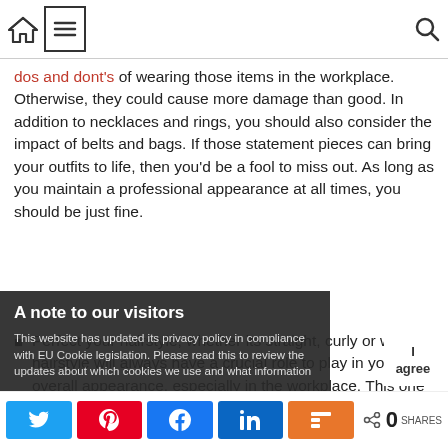Navigation bar with home icon, menu icon, and search icon
dos and dont's of wearing those items in the workplace. Otherwise, they could cause more damage than good. In addition to necklaces and rings, you should also consider the impact of belts and bags. If those statement pieces can bring your outfits to life, then you'd be a fool to miss out. As long as you maintain a professional appearance at all times, you should be just fine.
Perfect your hairstyle, whether its straight, curly or wavy hairstyle will always have a crucial role to play in your overall appearance, especially in the workplace. This one element can shape your entire face while also setting the to
A note to our visitors
This website has updated its privacy policy in compliance with EU Cookie legislation. Please read this to review the updates about which cookies we use and what information
Share bar with Twitter, Pinterest, Facebook, LinkedIn, Mix buttons and 0 SHARES